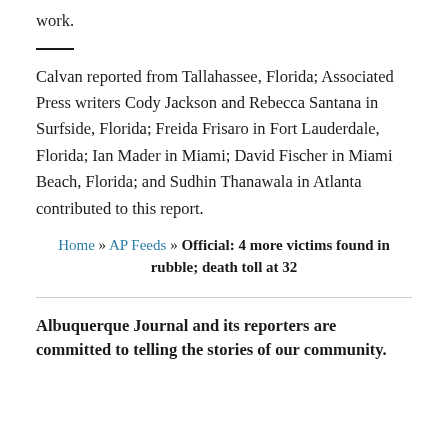work.
Calvan reported from Tallahassee, Florida; Associated Press writers Cody Jackson and Rebecca Santana in Surfside, Florida; Freida Frisaro in Fort Lauderdale, Florida; Ian Mader in Miami; David Fischer in Miami Beach, Florida; and Sudhin Thanawala in Atlanta contributed to this report.
Home » AP Feeds » Official: 4 more victims found in rubble; death toll at 32
Albuquerque Journal and its reporters are committed to telling the stories of our community.